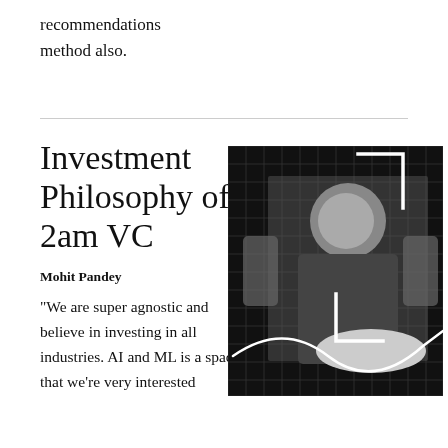recommendations method also.
Investment Philosophy of 2am VC
Mohit Pandey
“We are super agnostic and believe in investing in all industries. AI and ML is a space that we’re very interested
[Figure (photo): Black and white photo of Mohit Pandey sitting in an office/lounge setting, with a dark grid-patterned background and white geometric bracket overlay and a white curved line decoration.]